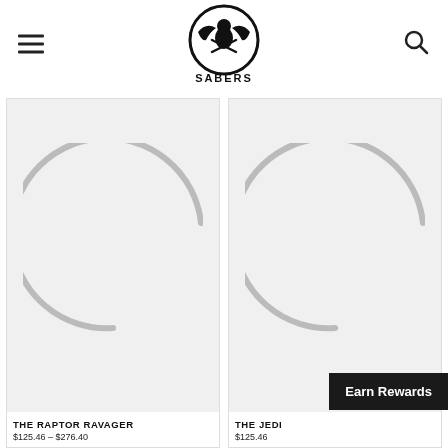D SABERS logo with hamburger menu and search icon
[Figure (photo): Product image placeholder for The Raptor Ravager — large circular loading spinner/placeholder arc on light gray background]
THE RAPTOR RAVAGER
$125.46 – $276.40
[Figure (photo): Product image placeholder for The Jedi — large circular loading spinner/placeholder arc on light gray background]
THE JEDI
$125.46
Earn Rewards